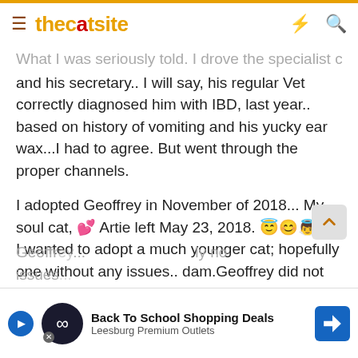thecatsite
What I was seriously told. I drove the specialist crazy!! and his secretary.. I will say, his regular Vet correctly diagnosed him with IBD, last year.. based on history of vomiting and his yucky ear wax...I had to agree. But went through the proper channels.
I adopted Geoffrey in November of 2018... My soul cat, 💕 Artie left May 23, 2018. 😇... I wanted to adopt a much younger cat; hopefully one without any issues.. dam.Geoffrey did not pick me, I picked him.. I fell in love with him when I saw him.. did rush? I do not know--all I know is that I really needed a cat in my life.. I needed love, and I needed to feel needed...
Geoffrey...absolutely no issues...
[Figure (screenshot): Advertisement banner: Back To School Shopping Deals - Leesburg Premium Outlets, with navigation icon]